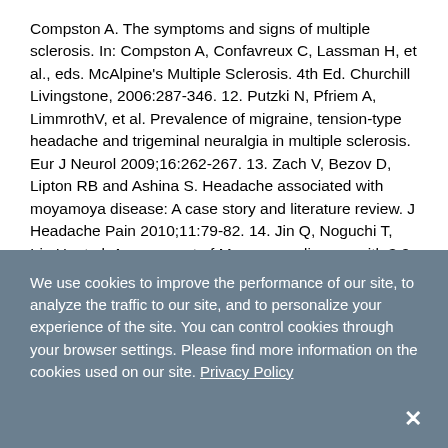Compston A. The symptoms and signs of multiple sclerosis. In: Compston A, Confavreux C, Lassman H, et al., eds. McAlpine's Multiple Sclerosis. 4th Ed. Churchill Livingstone, 2006:287-346. 12. Putzki N, Pfriem A, LimmrothV, et al. Prevalence of migraine, tension-type headache and trigeminal neuralgia in multiple sclerosis. Eur J Neurol 2009;16:262-267. 13. Zach V, Bezov D, Lipton RB and Ashina S. Headache associated with moyamoya disease: A case story and literature review. J Headache Pain 2010;11:79-82. 14. Jin Q, Noguchi T, Irie H, et al. Assessment of Moyamoya disease with 3.0-T magnetic resonance angiography and magnetic resonance imaging versus conventional angiography. Neurol Med Chir (Tokyo) 2011;51:195-200. 15.
We use cookies to improve the performance of our site, to analyze the traffic to our site, and to personalize your experience of the site. You can control cookies through your browser settings. Please find more information on the cookies used on our site. Privacy Policy